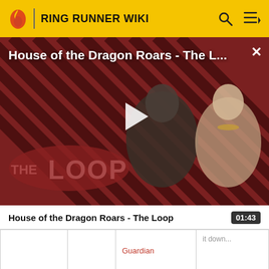RING RUNNER WIKI
[Figure (screenshot): Video thumbnail for 'House of the Dragon Roars - The Loop' showing two characters with a diagonal stripe background and THE LOOP logo overlay, with a play button in the center.]
House of the Dragon Roars - The L...
01:43
|  |  |  |  |
| --- | --- | --- | --- |
|  |  | Guardian | it down... |
| Spitter** | G5C | -Plexonic | Make sure |